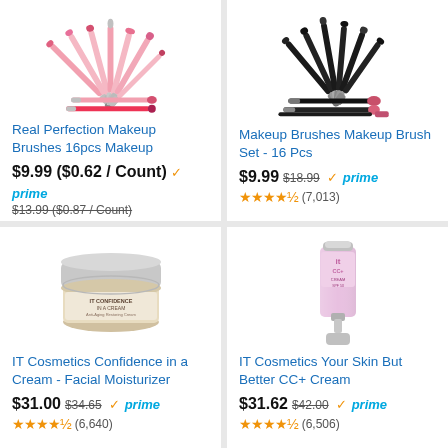[Figure (photo): Pink makeup brush set arranged in a fan/spread layout]
Real Perfection Makeup Brushes 16pcs Makeup
$9.99 ($0.62 / Count) prime $13.99 ($0.87 / Count) ★★★★½ (1,945)
[Figure (photo): Black and pink makeup brush set arranged in a spread layout]
Makeup Brushes Makeup Brush Set - 16 Pcs
$9.99 $18.99 prime ★★★★½ (7,013)
[Figure (photo): IT Cosmetics Confidence in a Cream facial moisturizer jar with silver lid]
IT Cosmetics Confidence in a Cream - Facial Moisturizer
$31.00 $34.65 prime ★★★★½ (6,640)
[Figure (photo): IT Cosmetics CC+ Cream tube in pink with silver cap]
IT Cosmetics Your Skin But Better CC+ Cream
$31.62 $42.00 prime ★★★★½ (6,506)